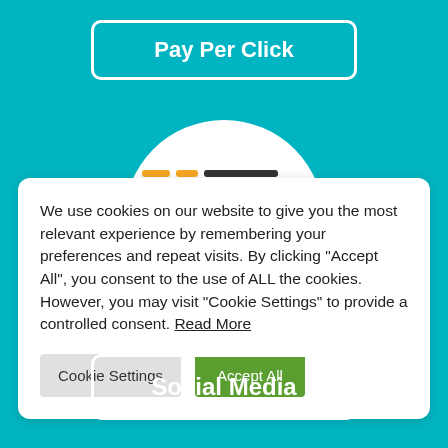Pay Per Click
[Figure (illustration): Partial white circle visible behind cookie consent modal, with decorative orange and dark horizontal lines]
We use cookies on our website to give you the most relevant experience by remembering your preferences and repeat visits. By clicking “Accept All”, you consent to the use of ALL the cookies. However, you may visit “Cookie Settings” to provide a controlled consent. Read More
Cookie Settings
Accept All
Social Media